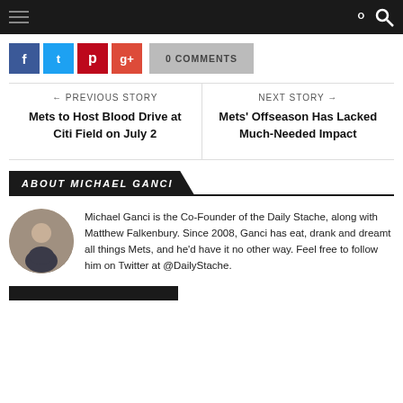Navigation bar with hamburger menu and search icon
f  t  p  g+  0 COMMENTS
← PREVIOUS STORY
Mets to Host Blood Drive at Citi Field on July 2
NEXT STORY →
Mets' Offseason Has Lacked Much-Needed Impact
ABOUT MICHAEL GANCI
Michael Ganci is the Co-Founder of the Daily Stache, along with Matthew Falkenbury. Since 2008, Ganci has eat, drank and dreamt all things Mets, and he'd have it no other way. Feel free to follow him on Twitter at @DailyStache.